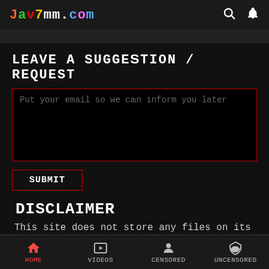Jav7mm.com
LEAVE A SUGGESTION / REQUEST
Put your email so we can inform you later
SUBMIT
DISCLAIMER
This site does not store any files on its server. All contents are provided by non-affiliated third parties.
HOME   VIDEOS   CENSORED   UNCENSORED